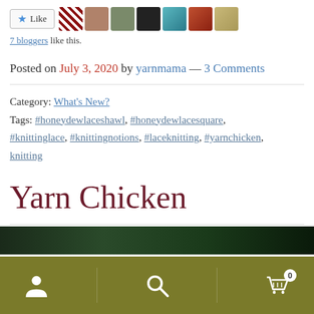[Figure (other): Like button with star icon and row of 7 blogger avatar thumbnails]
7 bloggers like this.
Posted on July 3, 2020 by yarnmama — 3 Comments
Category: What's New?
Tags: #honeydewlaceshawl, #honeydewlacesquare, #knittinglace, #knittingnotions, #laceknitting, #yarnchicken, knitting
Yarn Chicken
[Figure (photo): Dark outdoor/nature photo strip at bottom]
Navigation toolbar with user icon, search icon, and cart icon (0)